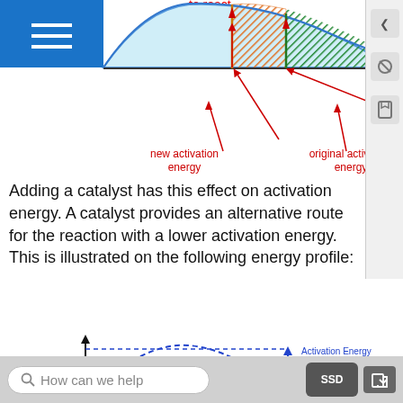[Figure (other): Top portion of a Maxwell-Boltzmann distribution diagram showing 'to react' label, with shaded regions indicating new activation energy (orange vertical line, hatched orange area) and original activation energy (green vertical line, hatched green area). Red arrows point to 'new activation energy' and 'original activation energy' labels in red text. X-axis labeled 'Energy'.]
Adding a catalyst has this effect on activation energy. A catalyst provides an alternative route for the reaction with a lower activation energy. This is illustrated on the following energy profile:
[Figure (other): Energy profile diagram showing two reaction curves: a taller blue dashed curve (without catalyst) and a shorter red curve (with catalyst). Y-axis labeled 'Energy', x-axis unlabeled. 'Reactants' labeled with horizontal dashed line at base. Blue double-headed arrow labeled 'Activation Energy without catalyst' in blue. Red double-headed arrow labeled 'Activation Energy with catalyst' in red. Both arrows point upward from reactants level to respective curve peaks.]
How can we help